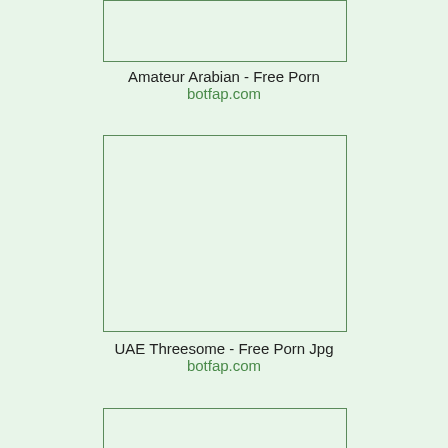[Figure (photo): Image placeholder box at top, partially visible]
Amateur Arabian - Free Porn
botfap.com
[Figure (photo): Image placeholder box in middle]
UAE Threesome - Free Porn Jpg
botfap.com
[Figure (photo): Image placeholder box at bottom, partially visible]